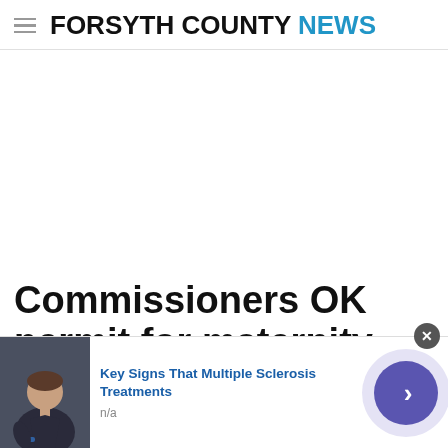FORSYTH COUNTY NEWS
Commissioners OK permit for maternity home
[Figure (photo): Thumbnail photo of a person, used as advertisement image for a Multiple Sclerosis article]
Key Signs That Multiple Sclerosis Treatments
n/a